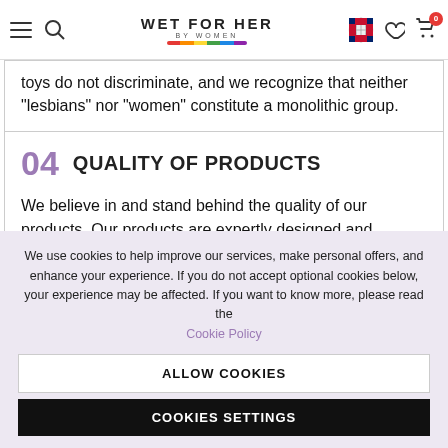WET FOR HER BY WOMEN [navigation header with menu, search, logo, flag, heart, cart]
toys do not discriminate, and we recognize that neither "lesbians" nor "women" constitute a monolithic group.
04 QUALITY OF PRODUCTS
We believe in and stand behind the quality of our products. Our products are expertly designed and manufactured with only the best available materials.
We use cookies to help improve our services, make personal offers, and enhance your experience. If you do not accept optional cookies below, your experience may be affected. If you want to know more, please read the Cookie Policy
ALLOW COOKIES
COOKIES SETTINGS